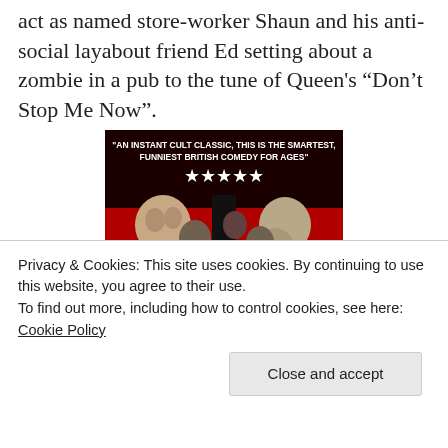act as named store-worker Shaun and his anti-social layabout friend Ed setting about a zombie in a pub to the tune of Queen's “Don’t Stop Me Now”.
[Figure (photo): Movie poster for 'Shaun of the Dead' with the quote 'AN INSTANT CULT CLASSIC, THIS IS THE SMARTEST, FUNNIEST BRITISH COMEDY FOR AGES' and 5 stars, showing zombie characters and the title 'SHAUN OF THE' at the bottom on a red background.]
Privacy & Cookies: This site uses cookies. By continuing to use this website, you agree to their use.
To find out more, including how to control cookies, see here: Cookie Policy
Close and accept